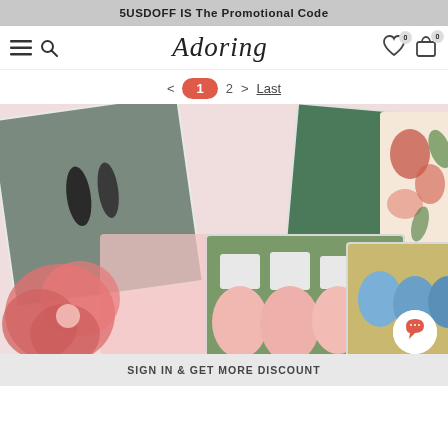5USDOFF IS The Promotional Code
[Figure (screenshot): Navigation bar with hamburger menu, search icon, 'Adoring' script logo, heart icon with badge 0, and shopping bag icon with badge 0]
< 1 2 > Last
[Figure (photo): Collage of wedding and bridesmaid photos: couple by water, bridesmaids in green dresses, woman in green gown, floral illustration, pink floral background, bridesmaids in pink tulle skirts, bridesmaids in blue dresses]
SIGN IN & GET MORE DISCOUNT